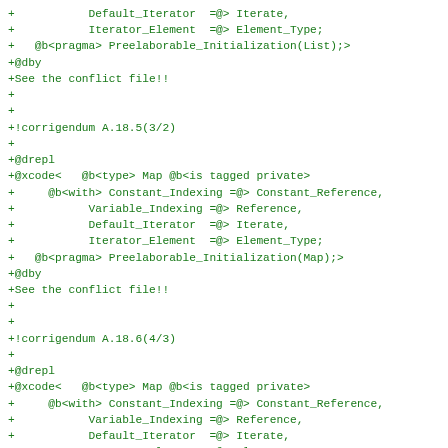+           Default_Iterator  =@> Iterate,
+           Iterator_Element  =@> Element_Type;
+   @b<pragma> Preelaborable_Initialization(List);>
+@dby
+See the conflict file!!
+
+
+!corrigendum A.18.5(3/2)
+
+@drepl
+@xcode<   @b<type> Map @b<is tagged private>
+     @b<with> Constant_Indexing =@> Constant_Reference,
+           Variable_Indexing =@> Reference,
+           Default_Iterator  =@> Iterate,
+           Iterator_Element  =@> Element_Type;
+   @b<pragma> Preelaborable_Initialization(Map);>
+@dby
+See the conflict file!!
+
+
+!corrigendum A.18.6(4/3)
+
+@drepl
+@xcode<   @b<type> Map @b<is tagged private>
+     @b<with> Constant_Indexing =@> Constant_Reference,
+           Variable_Indexing =@> Reference,
+           Default_Iterator  =@> Iterate,
+           Iterator_Element  =@> Element_Type;
+   @b<pragma> Preelaborable_Initialization(Map);>
+@dby
+See the conflict file!!